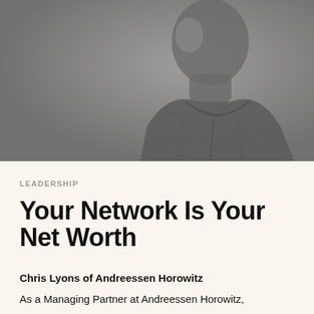[Figure (photo): Grayscale portrait photo of a person shown in profile/partial view, wearing a jacket, against a grey background]
LEADERSHIP
Your Network Is Your Net Worth
Chris Lyons of Andreessen Horowitz
As a Managing Partner at Andreessen Horowitz,